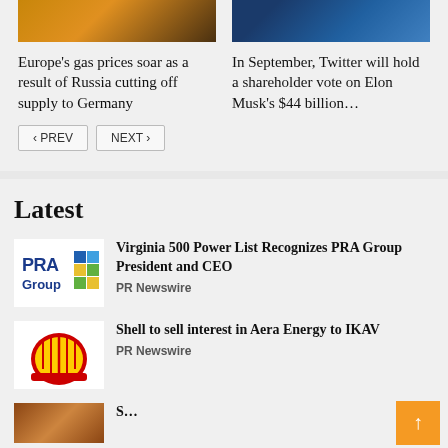[Figure (photo): News article thumbnail image - warm amber/orange tones, appears to be an energy/fire related image]
Europe's gas prices soar as a result of Russia cutting off supply to Germany
[Figure (photo): News article thumbnail image - dark blue tones, appears to be a person holding a phone or device]
In September, Twitter will hold a shareholder vote on Elon Musk's $44 billion...
Latest
[Figure (logo): PRA Group logo - blue text 'PRA Group' with colorful square icon]
Virginia 500 Power List Recognizes PRA Group President and CEO
PR Newswire
[Figure (logo): Shell logo - red and yellow shell symbol]
Shell to sell interest in Aera Energy to IKAV
PR Newswire
[Figure (photo): Partial thumbnail image at bottom of page - brown/earth tones]